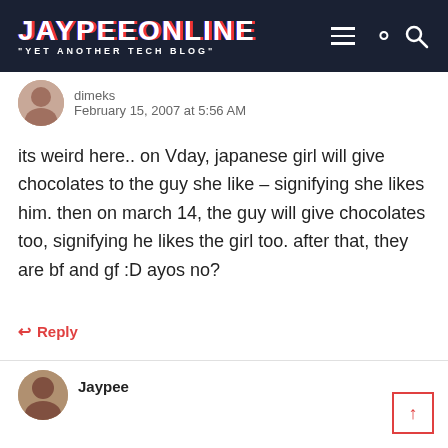JAYPEEONLINE "YET ANOTHER TECH BLOG"
dimeks
February 15, 2007 at 5:56 AM
its weird here.. on Vday, japanese girl will give chocolates to the guy she like – signifying she likes him. then on march 14, the guy will give chocolates too, signifying he likes the girl too. after that, they are bf and gf :D ayos no?
Reply
Jaypee